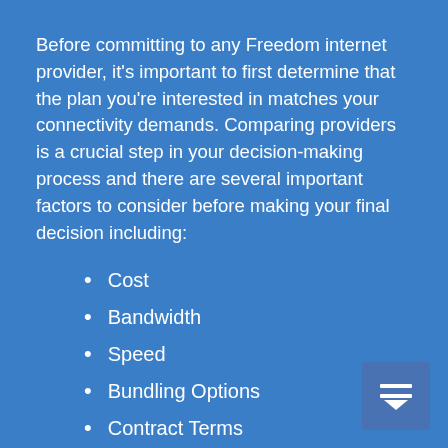Before committing to any Freedom internet provider, it's important to first determine that the plan you're interested in matches your connectivity demands. Comparing providers is a crucial step in your decision-making process and there are several important factors to consider before making your final decision including:
Cost
Bandwidth
Speed
Bundling Options
Contract Terms